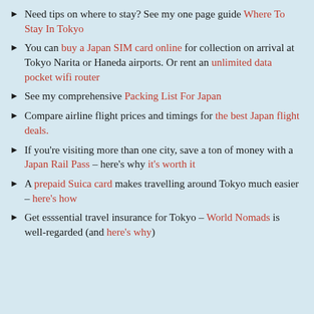Need tips on where to stay? See my one page guide Where To Stay In Tokyo
You can buy a Japan SIM card online for collection on arrival at Tokyo Narita or Haneda airports. Or rent an unlimited data pocket wifi router
See my comprehensive Packing List For Japan
Compare airline flight prices and timings for the best Japan flight deals.
If you're visiting more than one city, save a ton of money with a Japan Rail Pass – here's why it's worth it
A prepaid Suica card makes travelling around Tokyo much easier – here's how
Get esssential travel insurance for Tokyo – World Nomads is well-regarded (and here's why)